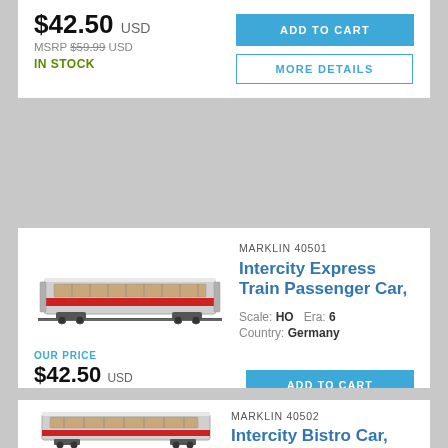$42.50 USD
MSRP $59.99 USD
IN STOCK
ADD TO CART
MORE DETAILS
MARKLIN 40501
Intercity Express Train Passenger Car,
Scale: HO  Era: 6
Country: Germany
[Figure (illustration): Model train passenger car side view illustration]
OUR PRICE
$42.50 USD
MSRP $59.99 USD
IN STOCK
ADD TO CART
MORE DETAILS
MARKLIN 40502
Intercity Bistro Car, 1st Class
[Figure (illustration): Model train bistro car side view illustration]